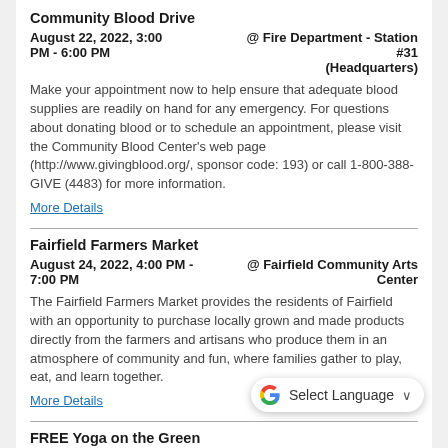Community Blood Drive
August 22, 2022, 3:00 PM - 6:00 PM @ Fire Department - Station #31 (Headquarters)
Make your appointment now to help ensure that adequate blood supplies are readily on hand for any emergency. For questions about donating blood or to schedule an appointment, please visit the Community Blood Center's web page (http://www.givingblood.org/, sponsor code: 193) or call 1-800-388-GIVE (4483) for more information.
More Details
Fairfield Farmers Market
August 24, 2022, 4:00 PM - 7:00 PM @ Fairfield Community Arts Center
The Fairfield Farmers Market provides the residents of Fairfield with an opportunity to purchase locally grown and made products directly from the farmers and artisans who produce them in an atmosphere of community and fun, where families gather to play, eat, and learn together.
More Details
FREE Yoga on the Green
August 24, 2022, 6:00 PM - 7:00 PM @ Village Green Park
Back by popular demand, this FREE yoga class is designed with the whole family in mind. Enjoy the be... while you breathe and move together.
More Details